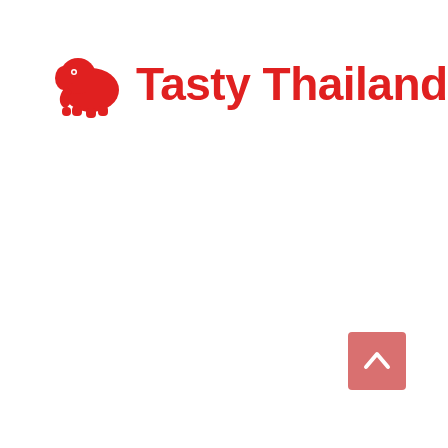[Figure (logo): Tasty Thailand logo: a red elephant icon on the left followed by the text 'Tasty Thailand' in bold red sans-serif font]
[Figure (other): A small pinkish-red square button with a white upward-pointing chevron/caret arrow, positioned in the bottom-right area of the page]